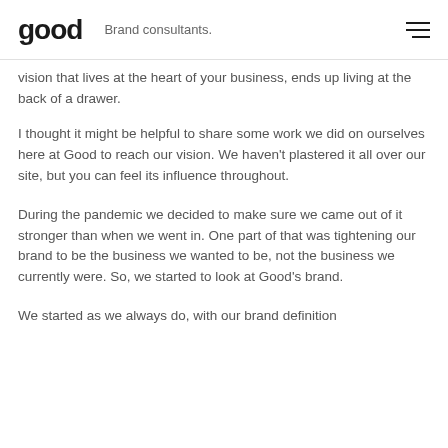good  Brand consultants.
vision that lives at the heart of your business, ends up living at the back of a drawer.
I thought it might be helpful to share some work we did on ourselves here at Good to reach our vision. We haven't plastered it all over our site, but you can feel its influence throughout.
During the pandemic we decided to make sure we came out of it stronger than when we went in. One part of that was tightening our brand to be the business we wanted to be, not the business we currently were. So, we started to look at Good's brand.
We started as we always do, with our brand definition